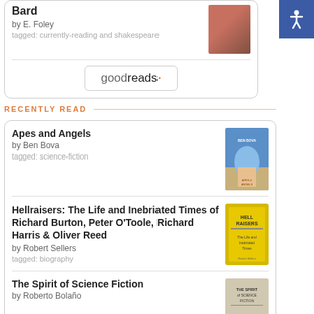Bard
by E. Foley
tagged: currently-reading and shakespeare
[Figure (logo): Goodreads logo button with rounded rectangle border]
RECENTLY READ
Apes and Angels
by Ben Bova
tagged: science-fiction
Hellraisers: The Life and Inebriated Times of Richard Burton, Peter O'Toole, Richard Harris & Oliver Reed
by Robert Sellers
tagged: biography
The Spirit of Science Fiction
by Roberto Bolaño